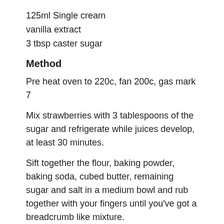125ml Single cream
vanilla extract
3 tbsp caster sugar
Method
Pre heat oven to 220c, fan 200c, gas mark 7
Mix strawberries with 3 tablespoons of the sugar and refrigerate while juices develop, at least 30 minutes.
Sift together the flour, baking powder, baking soda, cubed butter, remaining sugar and salt in a medium bowl and rub together with your fingers until you've got a breadcrumb like mixture.
Mix together the single cream and three quarters of the beaten egg and fold into the flour mixture. Don't overwork it.